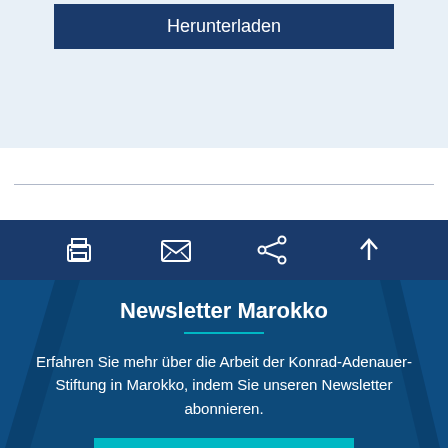Herunterladen
[Figure (screenshot): Toolbar with four icons: print, email/envelope, share, and scroll-to-top arrow, on a dark navy background]
Newsletter Marokko
Erfahren Sie mehr über die Arbeit der Konrad-Adenauer-Stiftung in Marokko, indem Sie unseren Newsletter abonnieren.
Jetzt abonnieren